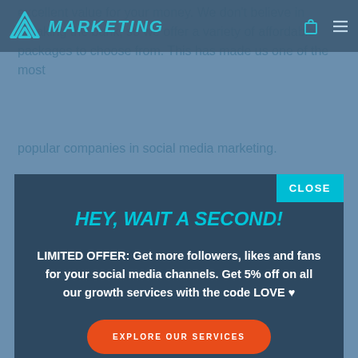[Figure (screenshot): Website header/navigation bar with G Marketing logo (teal G icon), MARKETING text in teal italic, shopping bag icon, and hamburger menu icon on dark blue background]
excellent value for your money. We don't believe in breaking the bank, so we offer a variety of affordable packages to choose from. This has made us one of the most popular companies in social media marketing.
[Figure (screenshot): Modal popup with dark blue background. Contains CLOSE button in top-right corner (teal). Title: HEY, WAIT A SECOND! in teal. Body text: LIMITED OFFER: Get more followers, likes and fans for your social media channels. Get 5% off on all our growth services with the code LOVE ♥. Orange rounded button: EXPLORE OUR SERVICES]
It does not end there! You can visit our site to learn more about what we offer. We are always here to assist you in